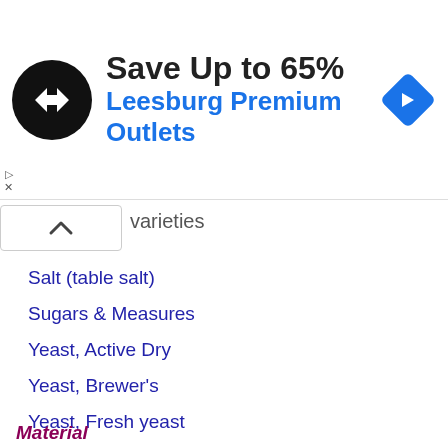[Figure (other): Advertisement banner: circular black logo with double arrow symbol, text 'Save Up to 65%' in bold dark, 'Leesburg Premium Outlets' in blue, and a blue diamond navigation icon on the right]
varieties
Salt (table salt)
Sugars & Measures
Yeast, Active Dry
Yeast, Brewer's
Yeast, Fresh yeast
Yeast, Instant
Volume unit to unit
Weight unit to unit
Material